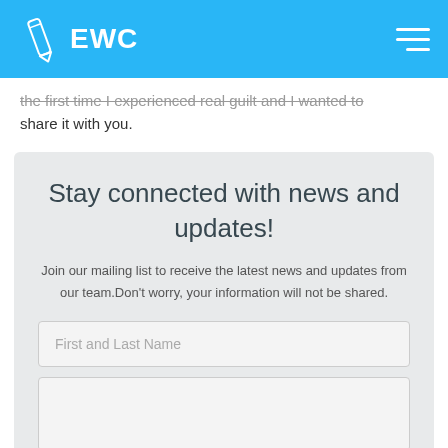EWC
the first time I experienced real guilt and I wanted to share it with you.
Stay connected with news and updates!
Join our mailing list to receive the latest news and updates from our team.Don't worry, your information will not be shared.
First and Last Name